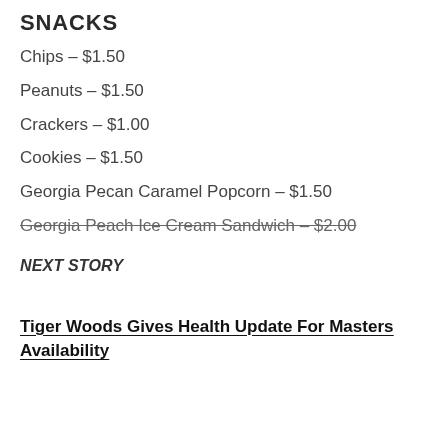SNACKS
Chips – $1.50
Peanuts – $1.50
Crackers – $1.00
Cookies – $1.50
Georgia Pecan Caramel Popcorn – $1.50
Georgia Peach Ice Cream Sandwich – $2.00
NEXT STORY
Tiger Woods Gives Health Update For Masters Availability